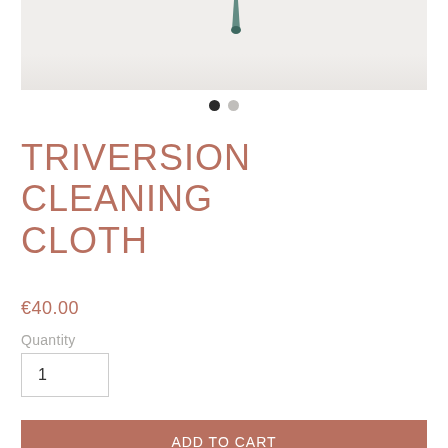[Figure (photo): Product image of Triversion Cleaning Cloth on a light grey/white background, showing the tip of a brush or tool at the top]
• •
TRIVERSION CLEANING CLOTH
€40.00
Quantity
1
Add to Cart